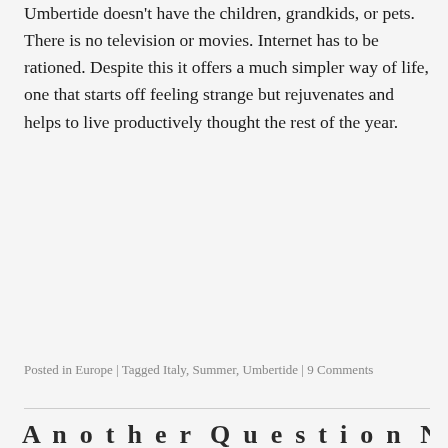Umbertide doesn't have the children, grandkids, or pets. There is no television or movies. Internet has to be rationed. Despite this it offers a much simpler way of life, one that starts off feeling strange but rejuvenates and helps to live productively thought the rest of the year.
Posted in Europe | Tagged Italy, Summer, Umbertide | 9 Comments